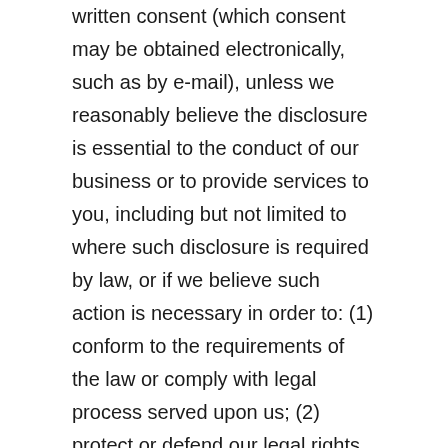written consent (which consent may be obtained electronically, such as by e-mail), unless we reasonably believe the disclosure is essential to the conduct of our business or to provide services to you, including but not limited to where such disclosure is required by law, or if we believe such action is necessary in order to: (1) conform to the requirements of the law or comply with legal process served upon us; (2) protect or defend our legal rights or property, the Website, or our users; (3) investigate, prevent or take action regarding illegal activities, suspected fraud, situations involving potential threats to the physical safety of any person, or violations of the Terms & Conditions for using the Website; or (4) resolve customer disputes or inquiries.
We engage other companies and individuals to